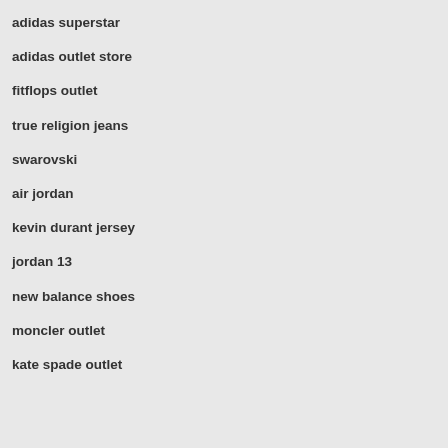adidas superstar
adidas outlet store
fitflops outlet
true religion jeans
swarovski
air jordan
kevin durant jersey
jordan 13
new balance shoes
moncler outlet
kate spade outlet